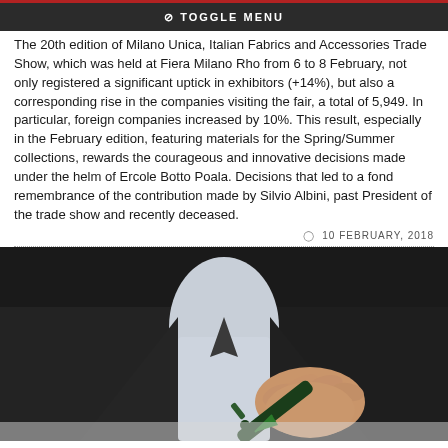⊘ TOGGLE MENU
The 20th edition of Milano Unica, Italian Fabrics and Accessories Trade Show, which was held at Fiera Milano Rho from 6 to 8 February, not only registered a significant uptick in exhibitors (+14%), but also a corresponding rise in the companies visiting the fair, a total of 5,949. In particular, foreign companies increased by 10%. This result, especially in the February edition, featuring materials for the Spring/Summer collections, rewards the courageous and innovative decisions made under the helm of Ercole Botto Poala. Decisions that led to a fond remembrance of the contribution made by Silvio Albini, past President of the trade show and recently deceased.
10 FEBRUARY, 2018
[Figure (photo): Close-up photo of a person in a dark suit holding a green pen or marker, writing or drawing on a surface. A green arrow is visible near the pen tip.]